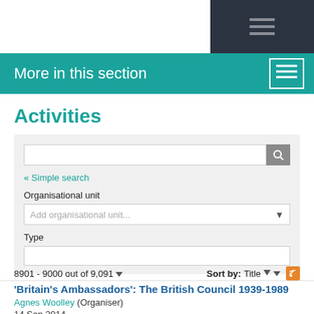More in this section
Activities
[Figure (screenshot): Search and filter panel with search input, Simple search link, Organisational unit dropdown, and Type input field]
8901 - 9000 out of 9,091 ▼   Sort by: Title ▼ RSS
'Britain's Ambassadors': The British Council 1939-1989
Agnes Woolley (Organiser)
14 Sep 2014
Public engagement, outreach and knowledge exchange - Industrial engagement